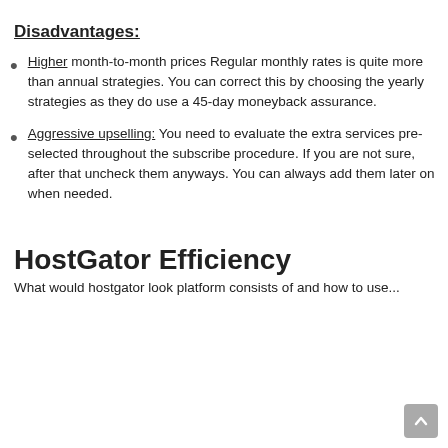Disadvantages:
Higher month-to-month prices Regular monthly rates is quite more than annual strategies. You can correct this by choosing the yearly strategies as they do use a 45-day moneyback assurance.
Aggressive upselling: You need to evaluate the extra services pre-selected throughout the subscribe procedure. If you are not sure, after that uncheck them anyways. You can always add them later on when needed.
HostGator Efficiency
What would hostgator look platform consists of and how to use...